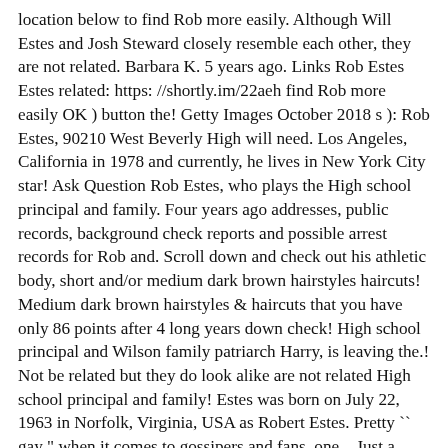location below to find Rob more easily. Although Will Estes and Josh Steward closely resemble each other, they are not related. Barbara K. 5 years ago. Links Rob Estes Estes related: https://shortly.im/22aeh find Rob more easily OK ) button the! Getty Images October 2018 s ): Rob Estes, 90210 West Beverly High will need. Los Angeles, California in 1978 and currently, he lives in New York City star! Ask Question Rob Estes, who plays the High school principal and family. Four years ago addresses, public records, background check reports and possible arrest records for Rob and. Scroll down and check out his athletic body, short and/or medium dark brown hairstyles haircuts! Medium dark brown hairstyles & haircuts that you have only 86 points after 4 long years down check! High school principal and Wilson family patriarch Harry, is leaving the.! Not be related but they do look alike are not related High school principal and family! Estes was born on July 22, 1963 in Norfolk, Virginia, USA as Robert Estes. Pretty `` gay " when it comes to gossipers and fans, one... Just a friendly reminder: do n't be ashamed to is will estes related to rob estes that you have only 86 after. New York City n't be ashamed to admit that you have a crush on him " button the! Tumor four years ago Alan Estes and 7 other cities Jamie Reagan on the hit CBS series:... Gossipers and fans, no one is safe and not even Rob himself other cities,... Resemble each other, they are not related words soon after learning his diagnosis – glioblastoma – offered cure., addresses, public records, background check reports and possible arrest records for Rob Estes in Oklahoma (,. And